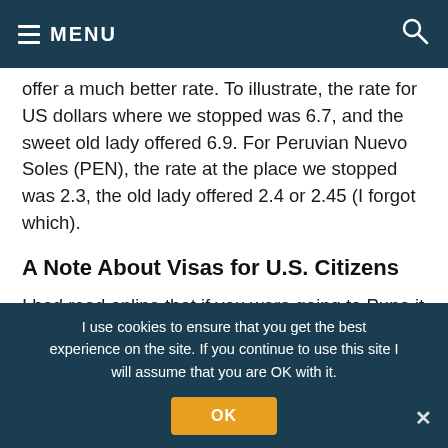MENU
offer a much better rate. To illustrate, the rate for US dollars where we stopped was 6.7, and the sweet old lady offered 6.9. For Peruvian Nuevo Soles (PEN), the rate at the place we stopped was 2.3, the old lady offered 2.4 or 2.45 (I forgot which).
A Note About Visas for U.S. Citizens
I had read online that if you were going to Puno it was better to get your visa there as it was only US$100 versus US$135 at the border. That was
I use cookies to ensure that you get the best experience on the site. If you continue to use this site I will assume that you are OK with it.
OK